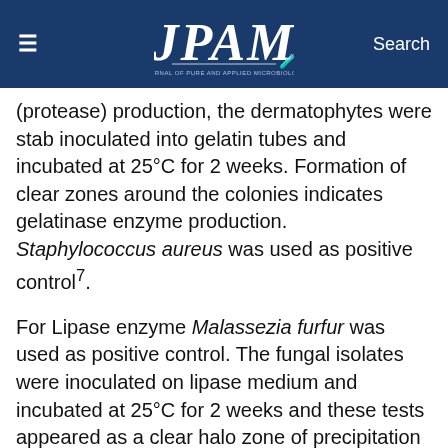JPAM — Journal of Pure and Applied Microbiology
(protease) production, the dermatophytes were stab inoculated into gelatin tubes and incubated at 25°C for 2 weeks. Formation of clear zones around the colonies indicates gelatinase enzyme production. Staphylococcus aureus was used as positive control7.
For Lipase enzyme Malassezia furfur was used as positive control. The fungal isolates were inoculated on lipase medium and incubated at 25°C for 2 weeks and these tests appeared as a clear halo zone of precipitation around the colony7. Keratin powder was added to trypticase Soy Agar (TSA) and adjusted to pH 5.6. Fungal isolates were cultured on TSA medium and incubated at 25°C for 2 weeks. Keratinase activity was observed by incubating the plates at 25°C for 7 days